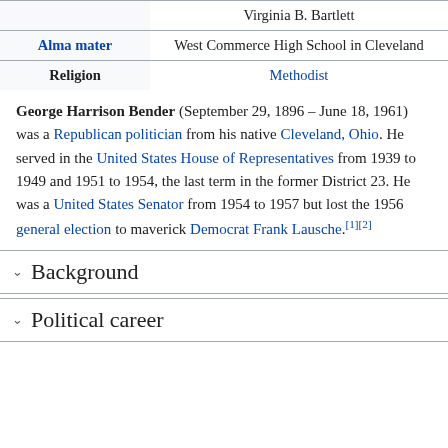|  |  |
| --- | --- |
|  | Virginia B. Bartlett |
| Alma mater | West Commerce High School in Cleveland |
| Religion | Methodist |
George Harrison Bender (September 29, 1896 – June 18, 1961) was a Republican politician from his native Cleveland, Ohio. He served in the United States House of Representatives from 1939 to 1949 and 1951 to 1954, the last term in the former District 23. He was a United States Senator from 1954 to 1957 but lost the 1956 general election to maverick Democrat Frank Lausche.[1][2]
Background
Political career